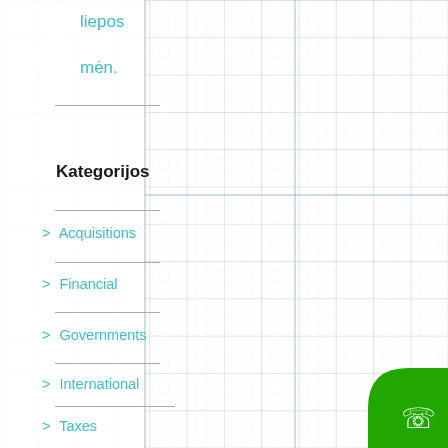liepos
mėn.
Kategorijos
> Acquisitions
> Financial
> Governments
> International
> Taxes
> Uncategorized